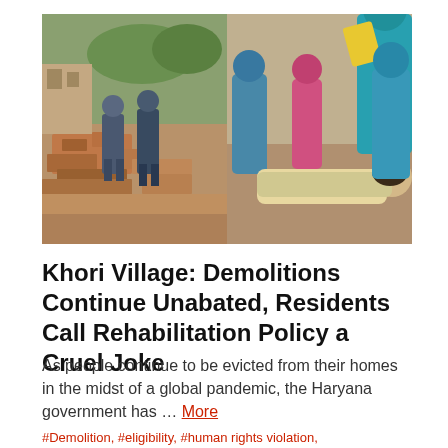[Figure (photo): Two side-by-side photographs: left shows police officers amid rubble from demolished structures in Khori Village; right shows distressed residents gathered around an injured person on the ground]
Khori Village: Demolitions Continue Unabated, Residents Call Rehabilitation Policy a Cruel Joke
As people continue to be evicted from their homes in the midst of a global pandemic, the Haryana government has … More
#Demolition, #eligibility, #human rights violation,